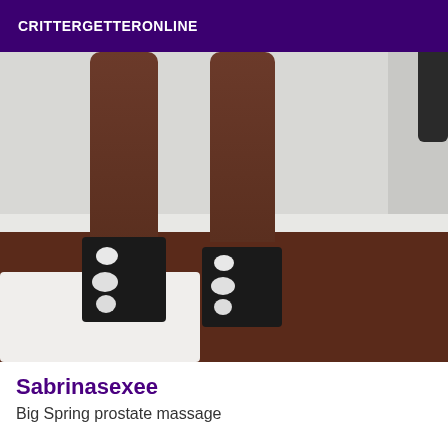CRITTERGETTERONLINE
[Figure (photo): Photo of a person's legs wearing black strappy high-heeled boots, standing on a dark wooden floor next to a white bed sheet, with a light grey wall in the background.]
Sabrinasexee
Big Spring prostate massage